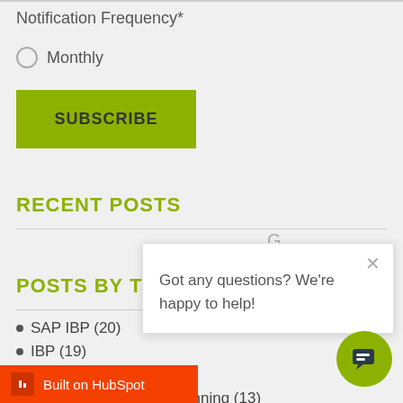Notification Frequency*
Monthly
SUBSCRIBE
RECENT POSTS
POSTS BY TOPIC
SAP IBP (20)
IBP (19)
SAP APO (15)
Integrated Business Planning (13)
IBP for Demand (12)
Got any questions? We're happy to help!
Built on HubSpot